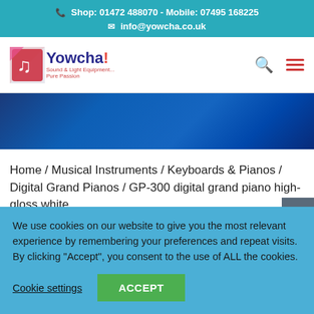Shop: 01472 488070 - Mobile: 07495 168225
info@yowcha.co.uk
[Figure (logo): Yowcha logo with music note icon and tagline 'Sound & Light Equipment... Pure Passion']
Home / Musical Instruments / Keyboards & Pianos / Digital Grand Pianos / GP-300 digital grand piano high-gloss white
We use cookies on our website to give you the most relevant experience by remembering your preferences and repeat visits. By clicking “Accept”, you consent to the use of ALL the cookies.
Cookie settings
ACCEPT